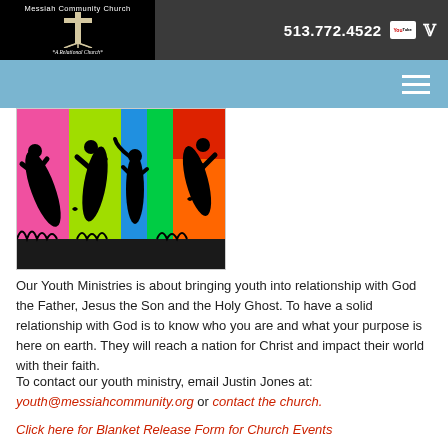513.772.4522 | Messiah Community Church · A Relational Church
[Figure (illustration): Colorful silhouette illustration of youth jumping against vibrant colored backgrounds (pink, yellow-green, blue, green, orange-red)]
Our Youth Ministries is about bringing youth into relationship with God the Father, Jesus the Son and the Holy Ghost. To have a solid relationship with God is to know who you are and what your purpose is here on earth. They will reach a nation for Christ and impact their world with their faith.
To contact our youth ministry, email Justin Jones at: youth@messiahcommunity.org or contact the church.
Click here for Blanket Release Form for Church Events